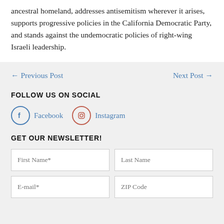ancestral homeland, addresses antisemitism wherever it arises, supports progressive policies in the California Democratic Party, and stands against the undemocratic policies of right-wing Israeli leadership.
← Previous Post    Next Post →
FOLLOW US ON SOCIAL
[Figure (infographic): Facebook and Instagram social media icons with links]
GET OUR NEWSLETTER!
First Name* input field and Last Name input field
E-mail* input field and ZIP Code input field